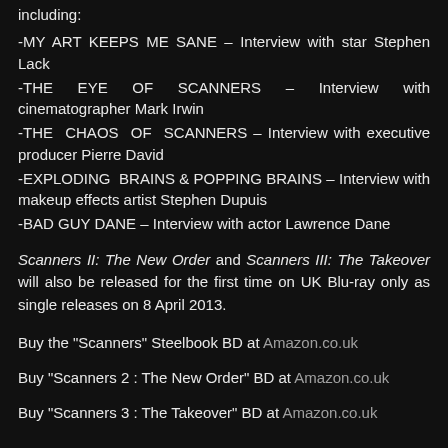including:
-MY ART KEEPS ME SANE – Interview with star Stephen Lack
-THE EYE OF SCANNERS – Interview with cinematographer Mark Irwin
-THE CHAOS OF SCANNERS – Interview with executive producer Pierre David
-EXPLODING BRAINS & POPPING BRAINS – Interview with makeup effects artist Stephen Dupuis
-BAD GUY DANE – Interview with actor Lawrence Dane
Scanners II: The New Order and Scanners III: The Takeover will also be released for the first time on UK Blu-ray only as single releases on 8 April 2013.
Buy the "Scanners" Steelbook BD at Amazon.co.uk
Buy "Scanners 2 : The New Order" BD at Amazon.co.uk
Buy "Scanners 3 : The Takeover" BD at Amazon.co.uk